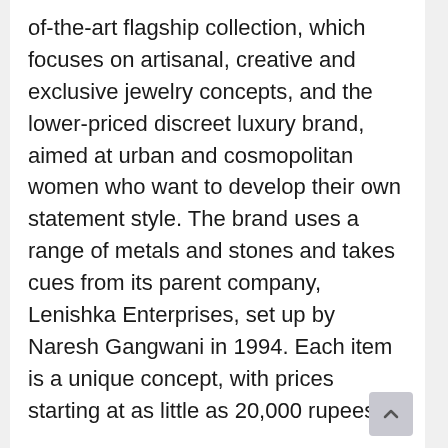of-the-art flagship collection, which focuses on artisanal, creative and exclusive jewelry concepts, and the lower-priced discreet luxury brand, aimed at urban and cosmopolitan women who want to develop their own statement style. The brand uses a range of metals and stones and takes cues from its parent company, Lenishka Enterprises, set up by Naresh Gangwani in 1994. Each item is a unique concept, with prices starting at as little as 20,000 rupees.
Major media outlets are now picking up on Lenishka Jewels's story and the impact that it is having on the Indian jewelry market. For instance, Cosmo India reported in January 2022 on how the brand has garnered the